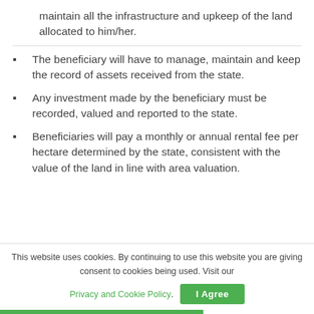maintain all the infrastructure and upkeep of the land allocated to him/her.
The beneficiary will have to manage, maintain and keep the record of assets received from the state.
Any investment made by the beneficiary must be recorded, valued and reported to the state.
Beneficiaries will pay a monthly or annual rental fee per hectare determined by the state, consistent with the value of the land in line with area valuation.
This website uses cookies. By continuing to use this website you are giving consent to cookies being used. Visit our Privacy and Cookie Policy. I Agree